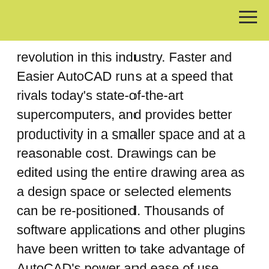revolution in this industry. Faster and Easier AutoCAD runs at a speed that rivals today's state-of-the-art supercomputers, and provides better productivity in a smaller space and at a reasonable cost. Drawings can be edited using the entire drawing area as a design space or selected elements can be re-positioned. Thousands of software applications and other plugins have been written to take advantage of AutoCAD's power and ease of use. Ease of Use If you're a novice user, AutoCAD is an easy to use tool. AutoCAD is a menu-driven application and each menu is easy to use. New users are able to create a simple drawing in less than 10 minutes. Creating drawings that take time to complete or ones requiring fine-tuning are common after using AutoCAD for a while. Powerful Design Tools Whether you're a seasoned AutoCAD user or a beginner, you can take advantage of AutoCAD's powerful